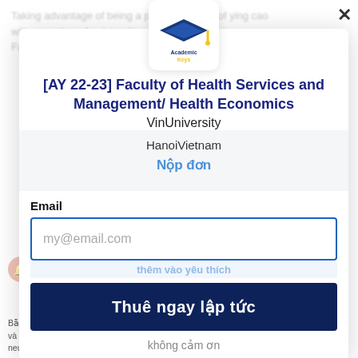[Figure (screenshot): Modal popup dialog on a webpage with AcademicKeys logo, job posting title, university name, location, email input form, and subscription button]
[AY 22-23] Faculty of Health Services and Management/ Health Economics
VinUniversity
HanoiVietnam
Nộp đơn
Email
my@email.com
Thuê ngay lập tức
không cảm ơn
Tuyên dụng
Bằng cách nhấp vào "Thuê ngay lập tức", tôi đồng ý với neuvoo để xử lý dữ liệu của tôi và gửi cho tôi thông báo qua email, như được nêu chi tiết trong Chính sách bảo mật của neuvoo. Tôi có thể rút lại sự đồng ý của tôi hoặc hủy đăng ký bất cứ lúc nào.